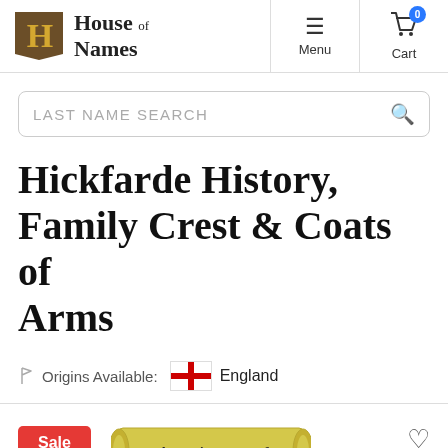[Figure (logo): House of Names logo with medieval H shield icon and gothic text 'House of Names']
Menu | Cart 0
LAST NAME SEARCH
Hickfarde History, Family Crest & Coats of Arms
Origins Available: England
[Figure (illustration): Red Sale button, scroll banner reading 'The Ancient Arms of', heart/wishlist icon]